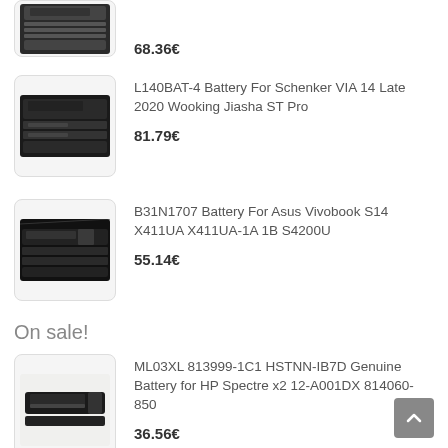[Figure (photo): Partially visible laptop battery image (top cropped)]
68.36€
[Figure (photo): Laptop battery for Schenker VIA 14 (L140BAT-4)]
L140BAT-4 Battery For Schenker VIA 14 Late 2020 Wooking Jiasha ST Pro
81.79€
[Figure (photo): Laptop battery for Asus Vivobook S14 (B31N1707)]
B31N1707 Battery For Asus Vivobook S14 X411UA X411UA-1A 1B S4200U
55.14€
On sale!
[Figure (photo): HP Spectre x2 battery (ML03XL)]
ML03XL 813999-1C1 HSTNN-IB7D Genuine Battery for HP Spectre x2 12-A001DX 814060-850
36.56€